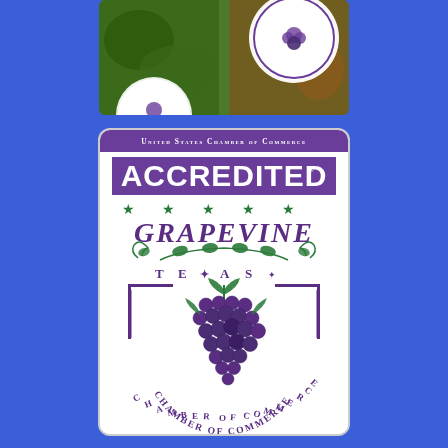[Figure (photo): Partial photo at top showing outdoor scene with greenery and a circular seal/logo with grape design visible]
[Figure (logo): Grapevine Texas Chamber of Commerce badge: United States Chamber of Commerce Accredited seal with purple banner, five green stars, GRAPEVINE text in purple italic, grape vine illustration, TEXAS text, shield shape with CHAMBER OF COMMERCE text, and large purple grape cluster]